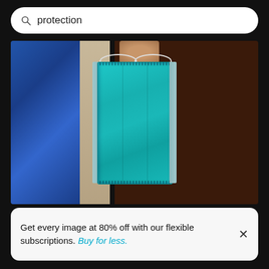protection
[Figure (photo): A hand holding a turquoise/blue surgical face mask by its ear loop, against a dark wooden background with denim-clad arm visible on the left.]
Get every image at 80% off with our flexible subscriptions. Buy for less.